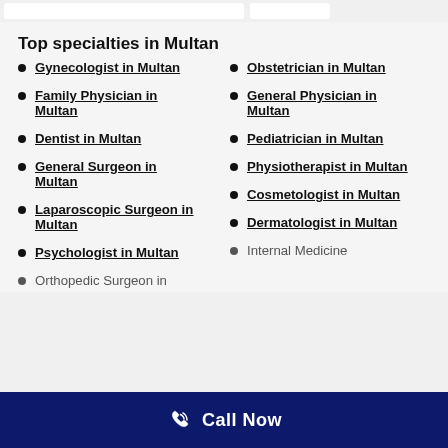Top specialties in Multan
Gynecologist in Multan
Obstetrician in Multan
Family Physician in Multan
General Physician in Multan
Dentist in Multan
Pediatrician in Multan
General Surgeon in Multan
Physiotherapist in Multan
Laparoscopic Surgeon in Multan
Cosmetologist in Multan
Psychologist in Multan
Dermatologist in Multan
Orthopedic Surgeon in
Internal Medicine
Call Now